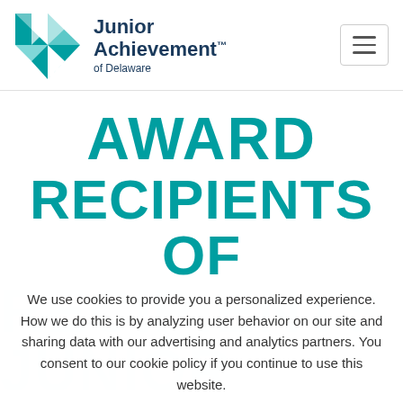[Figure (logo): Junior Achievement of Delaware logo with teal geometric pinwheel/diamond shape and text 'Junior Achievement™ of Delaware']
AWARD RECIPIENTS OF
We use cookies to provide you a personalized experience. How we do this is by analyzing user behavior on our site and sharing data with our advertising and analytics partners. You consent to our cookie policy if you continue to use this website.
I UNDERSTAND